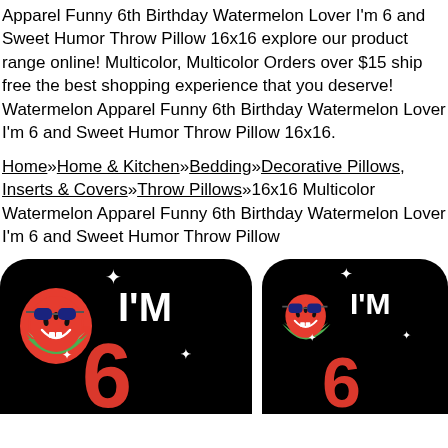Apparel Funny 6th Birthday Watermelon Lover I'm 6 and Sweet Humor Throw Pillow 16x16 explore our product range online! Multicolor, Multicolor Orders over $15 ship free the best shopping experience that you deserve! Watermelon Apparel Funny 6th Birthday Watermelon Lover I'm 6 and Sweet Humor Throw Pillow 16x16.
Home»Home & Kitchen»Bedding»Decorative Pillows, Inserts & Covers»Throw Pillows»16x16 Multicolor Watermelon Apparel Funny 6th Birthday Watermelon Lover I'm 6 and Sweet Humor Throw Pillow
[Figure (photo): Two black throw pillows with watermelon cartoon character wearing sunglasses and the text I'M 6, showing front view of product]